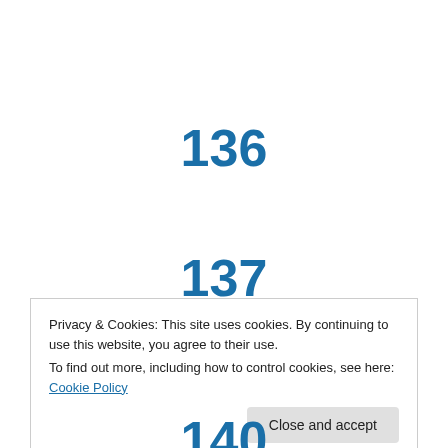136
137
138
Privacy & Cookies: This site uses cookies. By continuing to use this website, you agree to their use.
To find out more, including how to control cookies, see here: Cookie Policy
Close and accept
140